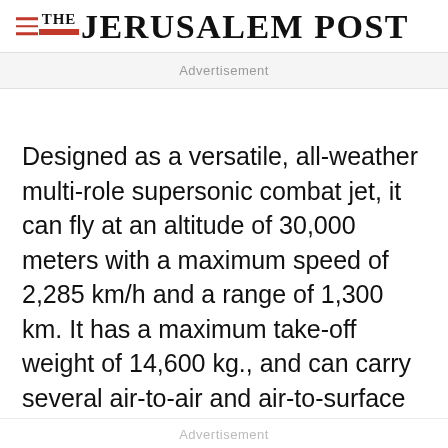THE JERUSALEM POST
Advertisement
Designed as a versatile, all-weather multi-role supersonic combat jet, it can fly at an altitude of 30,000 meters with a maximum speed of 2,285 km/h and a range of 1,300 km. It has a maximum take-off weight of 14,600 kg., and can carry several air-to-air and air-to-surface missiles,
Advertisement